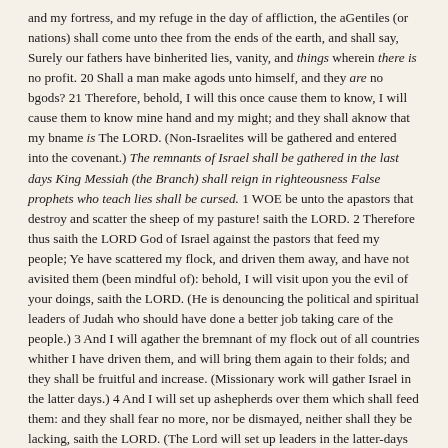and my fortress, and my refuge in the day of affliction, the aGentiles (or nations) shall come unto thee from the ends of the earth, and shall say, Surely our fathers have binherited lies, vanity, and things wherein there is no profit. 20 Shall a man make agods unto himself, and they are no bgods? 21 Therefore, behold, I will this once cause them to know, I will cause them to know mine hand and my might; and they shall aknow that my bname is The LORD. (Non-Israelites will be gathered and entered into the covenant.) The remnants of Israel shall be gathered in the last days King Messiah (the Branch) shall reign in righteousness False prophets who teach lies shall be cursed. 1 WOE be unto the apastors that destroy and scatter the sheep of my pasture! saith the LORD. 2 Therefore thus saith the LORD God of Israel against the pastors that feed my people; Ye have scattered my flock, and driven them away, and have not avisited them (been mindful of): behold, I will visit upon you the evil of your doings, saith the LORD. (He is denouncing the political and spiritual leaders of Judah who should have done a better job taking care of the people.) 3 And I will agather the bremnant of my flock out of all countries whither I have driven them, and will bring them again to their folds; and they shall be fruitful and increase. (Missionary work will gather Israel in the latter days.) 4 And I will set up ashepherds over them which shall feed them: and they shall fear no more, nor be dismayed, neither shall they be lacking, saith the LORD. (The Lord will set up leaders in the latter-days to lead Israel.) 5 ¶ Behold, the days come, saith the LORD, that I will raise unto aDavid a righteous bBranch, and a cKing (Christ) shall dreign and prosper, and shall execute ejudgment and fjustice in the earth. (At the Second Coming.) 6 In his days Judah shall be saved, and Israel shall dwell asafely: and